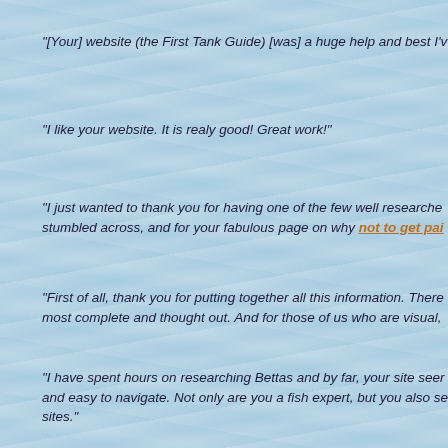"[Your] website (the First Tank Guide) [was] a huge help and best I'v..."
"I like your website. It is realy good! Great work!"
"I just wanted to thank you for having one of the few well researched... stumbled across, and for your fabulous page on why not to get pai..."
"First of all, thank you for putting together all this information. There... most complete and thought out. And for those of us who are visual,..."
"I have spent hours on researching Bettas and by far, your site seem... and easy to navigate. Not only are you a fish expert, but you also se... sites."
"Thanks alot for hopefully reading my plea for help ;). I think your si... forward to your point of view on the subject."